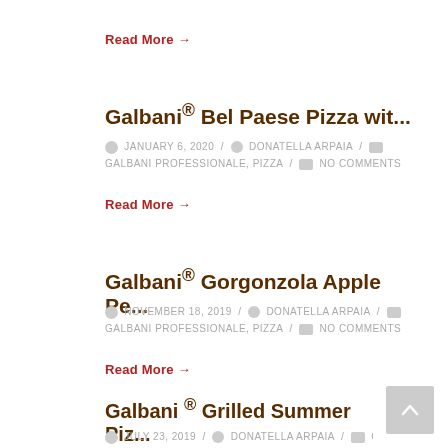Read More →
Galbani® Bel Paese Pizza wit...
JANUARY 6, 2020 / DONATELLA ARPAIA / GALBANI PROFESSIONALE, PIZZA / NO COMMENTS
Read More →
Galbani® Gorgonzola Apple Pe...
NOVEMBER 18, 2019 / DONATELLA ARPAIA / GALBANI PROFESSIONALE, PIZZA / NO COMMENTS
Read More →
Galbani ® Grilled Summer Piz...
JULY 23, 2019 / DONATELLA ARPAIA / GALBANI CHEESE, PIZZA / NO COMMENTS